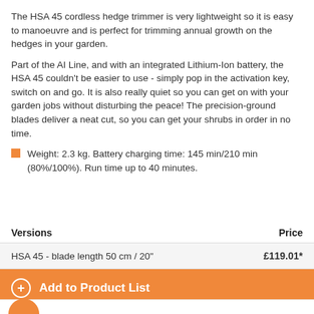The HSA 45 cordless hedge trimmer is very lightweight so it is easy to manoeuvre and is perfect for trimming annual growth on the hedges in your garden.
Part of the AI Line, and with an integrated Lithium-Ion battery, the HSA 45 couldn't be easier to use - simply pop in the activation key, switch on and go. It is also really quiet so you can get on with your garden jobs without disturbing the peace! The precision-ground blades deliver a neat cut, so you can get your shrubs in order in no time.
Weight: 2.3 kg. Battery charging time: 145 min/210 min (80%/100%). Run time up to 40 minutes.
| Versions | Price |
| --- | --- |
| HSA 45 - blade length 50 cm / 20" | £119.01* |
Add to Product List